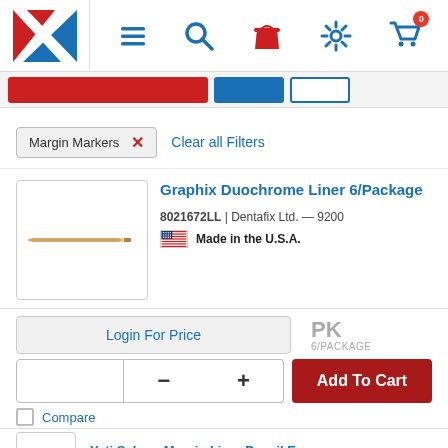[Figure (screenshot): Navigation bar with logo (red and blue triangles), hamburger menu, search, bag, settings, and cart icons]
[Figure (screenshot): Button row with red and blue buttons]
Margin Markers × Clear all Filters
Graphix Duochrome Liner 6/Package
8021672LL | Dentafix Ltd. — 9200
Made in the U.S.A.
[Figure (photo): Product image of a pencil/liner tool on white background]
Login For Price
PK 6/PACKAGE
Add To Cart
Yeti Sakura Margin Liner Pencil Ea